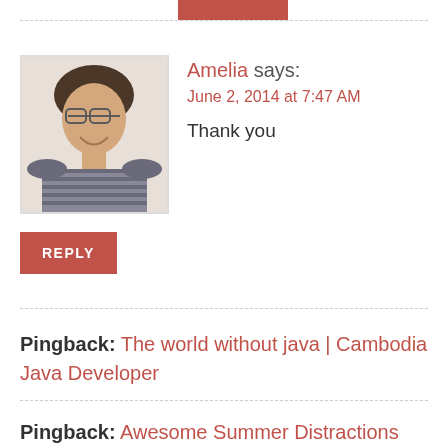[Figure (other): Partial red reply button visible at top of page]
Amelia says:
June 2, 2014 at 7:47 AM
Thank you
[Figure (photo): Avatar photo of Amelia, a woman with glasses and striped shirt, smiling]
REPLY
Pingback: The world without java | Cambodia Java Developer
Pingback: Awesome Summer Distractions from WordPress.com |